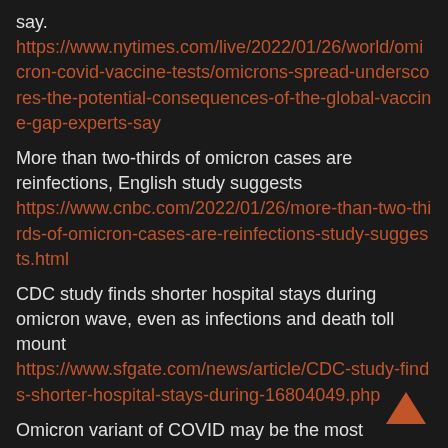say. https://www.nytimes.com/live/2022/01/26/world/omicron-covid-vaccine-tests/omicrons-spread-underscores-the-potential-consequences-of-the-global-vaccine-gap-experts-say
More than two-thirds of omicron cases are reinfections, English study suggests https://www.cnbc.com/2022/01/26/more-than-two-thirds-of-omicron-cases-are-reinfections-study-suggests.html
CDC study finds shorter hospital stays during omicron wave, even as infections and death toll mount https://www.sfgate.com/news/article/CDC-study-finds-shorter-hospital-stays-during-16804049.php
Omicron variant of COVID may be the most